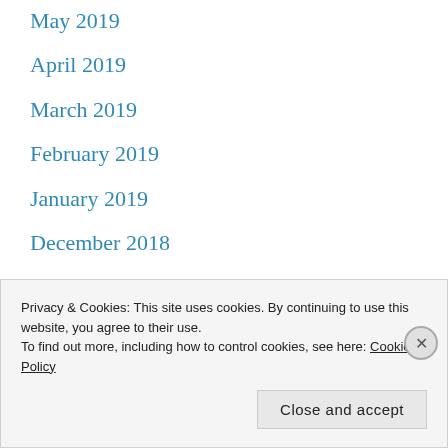May 2019
April 2019
March 2019
February 2019
January 2019
December 2018
November 2018
October 2018
September 2018
Privacy & Cookies: This site uses cookies. By continuing to use this website, you agree to their use.
To find out more, including how to control cookies, see here: Cookie Policy